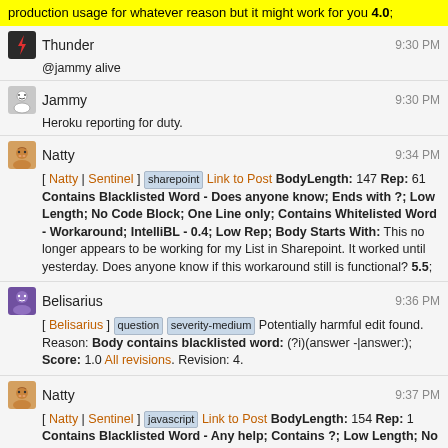production usage for whatever reason but it might work for you 4.0;
Thunder 9:30 PM
@jammy alive
Jammy 9:30 PM
Heroku reporting for duty.
Natty 9:34 PM
[ Natty | Sentinel ] sharepoint Link to Post BodyLength: 147 Rep: 61 Contains Blacklisted Word - Does anyone know; Ends with ?; Low Length; No Code Block; One Line only; Contains Whitelisted Word - Workaround; IntelliBL - 0.4; Low Rep; Body Starts With: This no longer appears to be working for my List in Sharepoint. It worked until yesterday. Does anyone know if this workaround still is functional? 5.5;
Belisarius 9:36 PM
[ Belisarius ] question severity-medium Potentially harmful edit found. Reason: Body contains blacklisted word: (?i)(answer -|answer:); Score: 1.0 All revisions. Revision: 4.
Natty 9:37 PM
[ Natty | Sentinel ] javascript Link to Post BodyLength: 154 Rep: 1 Contains Blacklisted Word - Any help; Contains ?; Low Length; No Code Block; IntelliBL - 0.3; Low Rep; Body Starts With: I am having the same issue using Material UI Tabs...it switch OK when using lists..but very slow when displaying table with data. Any help please? 5.5;
Belisarius 9:39 PM
[ Belisarius ] question severity-medium Potentially harmful edit found. Reason: Body